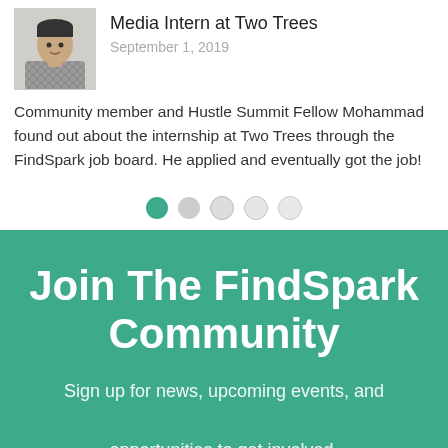Media Intern at Two Trees
September 1, 2019
Community member and Hustle Summit Fellow Mohammad found out about the internship at Two Trees through the FindSpark job board. He applied and eventually got the job!
[Figure (other): Pagination dots: 5 circles, first filled green, rest grey/outline]
Join The FindSpark Community
Sign up for news, upcoming events, and opportunities to get involved.